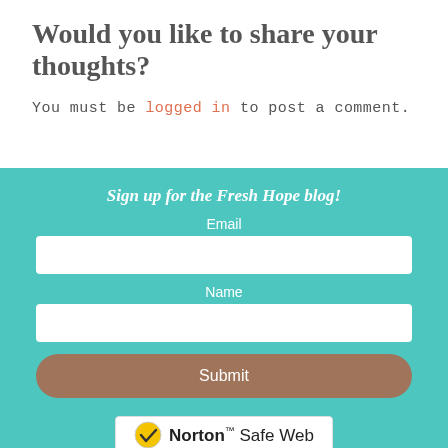Would you like to share your thoughts?
You must be logged in to post a comment.
Sign up for the Fresh Hope blog!
Email
Name
Submit
[Figure (logo): Norton Safe Web badge with yellow checkmark]
[Figure (logo): Starfield Technologies registered badge]